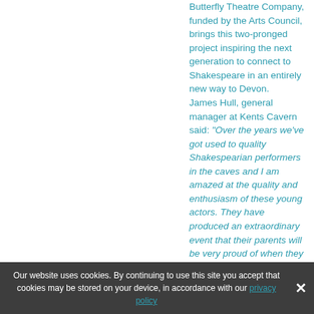Butterfly Theatre Company, funded by the Arts Council, brings this two-pronged project inspiring the next generation to connect to Shakespeare in an entirely new way to Devon. James Hull, general manager at Kents Cavern said: "Over the years we've got used to quality Shakespearian performers in the caves and I am amazed at the quality and enthusiasm of these young actors. They have produced an extraordinary event that their parents will be very proud of when they see them deliver the play."
Our website uses cookies. By continuing to use this site you accept that cookies may be stored on your device, in accordance with our privacy policy